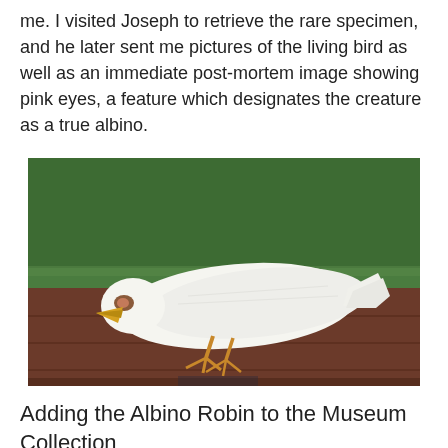me. I visited Joseph to retrieve the rare specimen, and he later sent me pictures of the living bird as well as an immediate post-mortem image showing pink eyes, a feature which designates the creature as a true albino.
[Figure (photo): Post-mortem photograph of an albino bird (robin) lying on a wooden bench with green artificial turf in the background. The bird is entirely white with a yellow beak and yellow-orange feet, consistent with albinism.]
Adding the Albino Robin to the Museum Collection